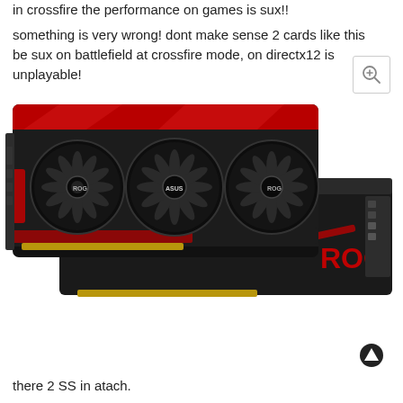in crossfire the performance on games is sux!!
something is very wrong! dont make sense 2 cards like this be sux on battlefield at crossfire mode, on directx12 is unplayable!
[Figure (photo): Two ASUS ROG Strix graphics cards (GPUs) with three fans each, black and red design, shown stacked/overlapping at an angle. ROG logo visible on backplate.]
there 2 SS in atach.